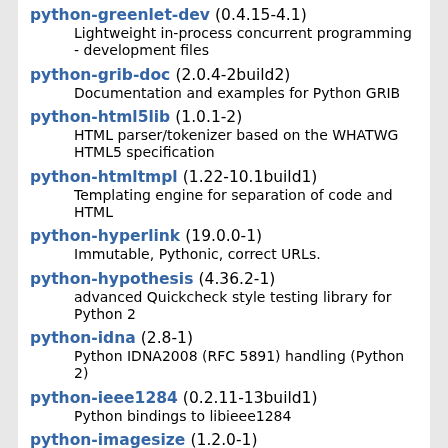python-greenlet-dev (0.4.15-4.1) Lightweight in-process concurrent programming - development files
python-grib-doc (2.0.4-2build2) Documentation and examples for Python GRIB
python-html5lib (1.0.1-2) HTML parser/tokenizer based on the WHATWG HTML5 specification
python-htmltmpl (1.22-10.1build1) Templating engine for separation of code and HTML
python-hyperlink (19.0.0-1) Immutable, Pythonic, correct URLs.
python-hypothesis (4.36.2-1) advanced Quickcheck style testing library for Python 2
python-idna (2.8-1) Python IDNA2008 (RFC 5891) handling (Python 2)
python-ieee1284 (0.2.11-13build1) Python bindings to libieee1284
python-imagesize (1.2.0-1) Python 2 module for getting image size from png/jpeg/jpeg2000/gif file
python-imaplib2 (2.57-5build1) Threaded Python IMAP4 client
python-importlib-metadata (1.5.0-1) library to access the metadata for a Python